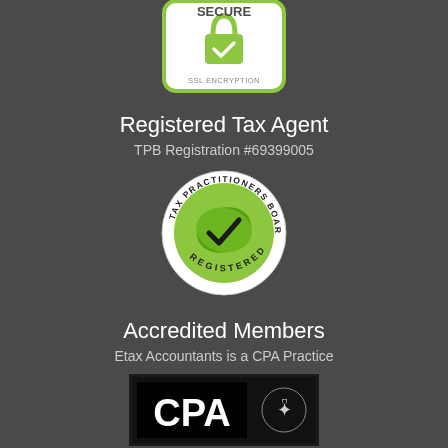[Figure (logo): SECURE SSL ENCRYPTION badge with green padlock and checkmark]
Registered Tax Agent
TPB Registration #69399005
[Figure (logo): Tax Practitioners Board REGISTERED circular badge with green leaf and checkmark]
Accredited Members
Etax Accountants is a CPA Practice
[Figure (logo): CPA Australia logo on black background with emblem]
Quality Assurance
[Figure (logo): Quality assurance certification badge partially visible at bottom]